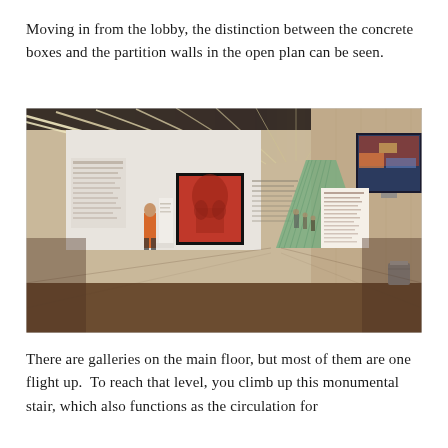Moving in from the lobby, the distinction between the concrete boxes and the partition walls in the open plan can be seen.
[Figure (photo): Interior view of a museum gallery corridor. Long white partition walls line both sides, with a dark wood floor. Linear ceiling lights recede toward a glass facade at the end of the corridor. On the left wall is a red figurative painting (depicting a torso) in a black frame, with a white display stand beside it. On the right side in the foreground, a TV screen shows colorful imagery, and a metal waste bin is visible. Several visitors walk in the distance toward the bright glass facade.]
There are galleries on the main floor, but most of them are one flight up.  To reach that level, you climb up this monumental stair, which also functions as the circulation for